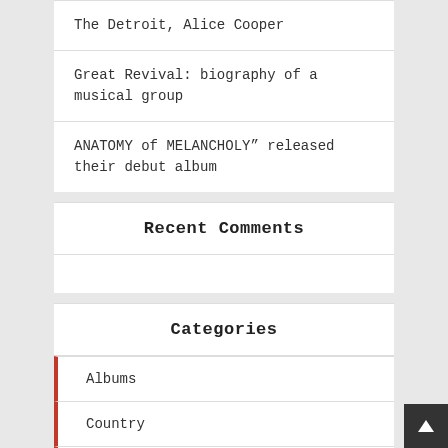The Detroit, Alice Cooper
Great Revival: biography of a musical group
ANATOMY of MELANCHOLY" released their debut album
Recent Comments
Categories
Albums
Country
Hip Hop